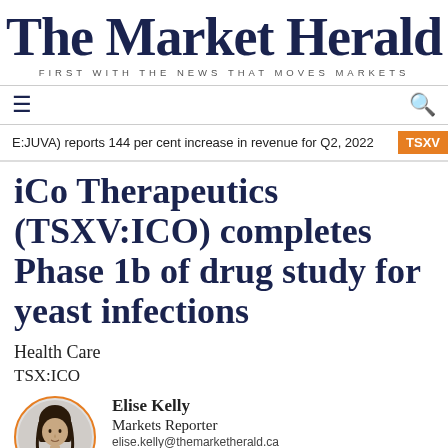The Market Herald
FIRST WITH THE NEWS THAT MOVES MARKETS
E:JUVA) reports 144 per cent increase in revenue for Q2, 2022  TSXV
iCo Therapeutics (TSXV:ICO) completes Phase 1b of drug study for yeast infections
Health Care
TSX:ICO
Elise Kelly
Markets Reporter
elise.kelly@themarketherald.ca
10 February 2020 14:00 (EDT)
2 mins